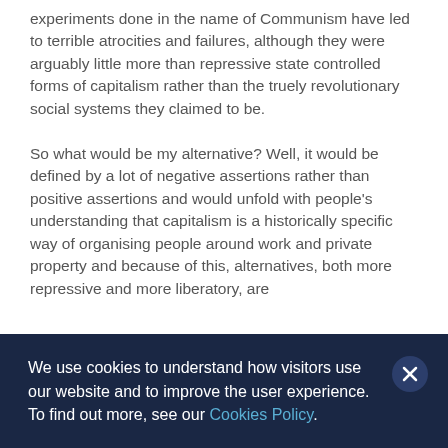experiments done in the name of Communism have led to terrible atrocities and failures, although they were arguably little more than repressive state controlled forms of capitalism rather than the truely revolutionary social systems they claimed to be.
So what would be my alternative? Well, it would be defined by a lot of negative assertions rather than positive assertions and would unfold with people's understanding that capitalism is a historically specific way of organising people around work and private property and because of this, alternatives, both more repressive and more liberatory, are
We use cookies to understand how visitors use our website and to improve the user experience. To find out more, see our Cookies Policy.